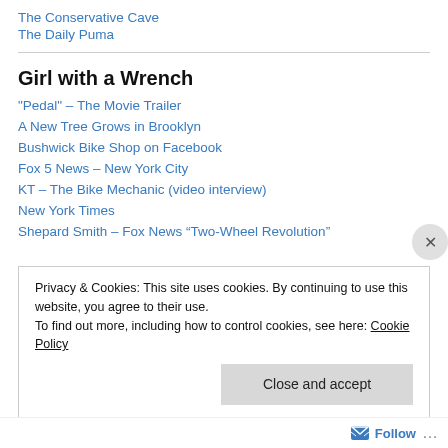The Conservative Cave
The Daily Puma
Girl with a Wrench
"Pedal" – The Movie Trailer
A New Tree Grows in Brooklyn
Bushwick Bike Shop on Facebook
Fox 5 News – New York City
KT – The Bike Mechanic (video interview)
New York Times
Shepard Smith – Fox News “Two-Wheel Revolution”
Privacy & Cookies: This site uses cookies. By continuing to use this website, you agree to their use. To find out more, including how to control cookies, see here: Cookie Policy